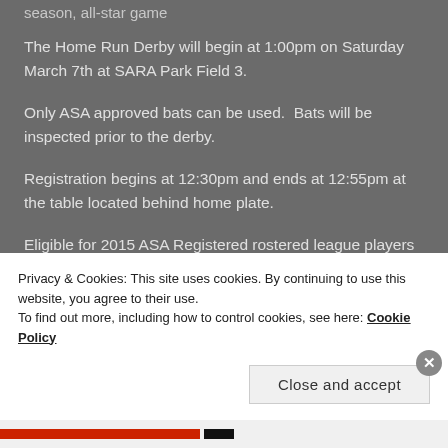season, all-star game
The Home Run Derby will begin at 1:00pm on Saturday March 7th at SARA Park Field 3.
Only ASA approved bats can be used.  Bats will be inspected prior to the derby.
Registration begins at 12:30pm and ends at 12:55pm at the table located behind home plate.
Eligible for 2015 ASA Registered rostered league players only.
Privacy & Cookies: This site uses cookies. By continuing to use this website, you agree to their use.
To find out more, including how to control cookies, see here: Cookie Policy
Close and accept